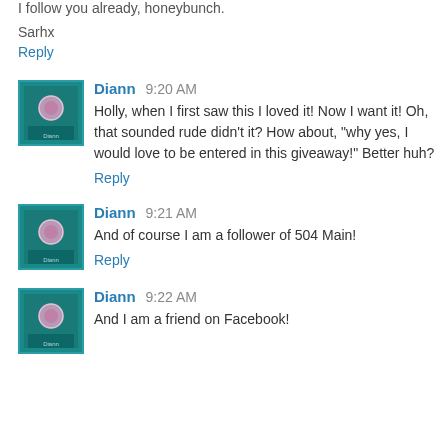I follow you already, honeybunch.
Sarhx
Reply
Diann 9:20 AM
Holly, when I first saw this I loved it! Now I want it! Oh, that sounded rude didn't it? How about, "why yes, I would love to be entered in this giveaway!" Better huh?
Reply
Diann 9:21 AM
And of course I am a follower of 504 Main!
Reply
Diann 9:22 AM
And I am a friend on Facebook!